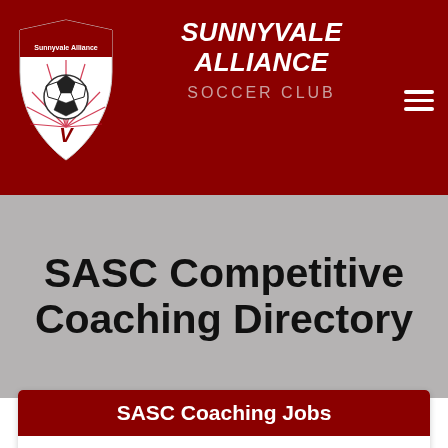SUNNYVALE ALLIANCE SOCCER CLUB
[Figure (logo): Sunnyvale Alliance soccer club shield logo with soccer ball and sunburst design]
SASC Competitive Coaching Directory
SASC Coaching Jobs
If you are an experienced and licensed coach and are interested in coaching with SASC, please fill out this application form, and send your coaching resume to: doc@sunnyvalesoccer.org. Once we